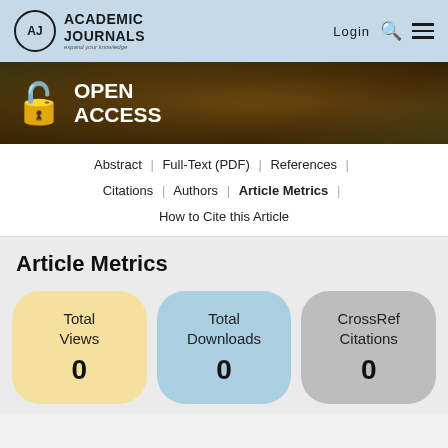Academic Journals — expand your knowledge | Login
[Figure (photo): Open Access banner with soil/earth background image, red open-access lock icon, and white text reading OPEN ACCESS]
Abstract | Full-Text (PDF) | References | Citations | Authors | Article Metrics | How to Cite this Article
Article Metrics
Total Views: 0
Total Downloads: 0
CrossRef Citations: 0